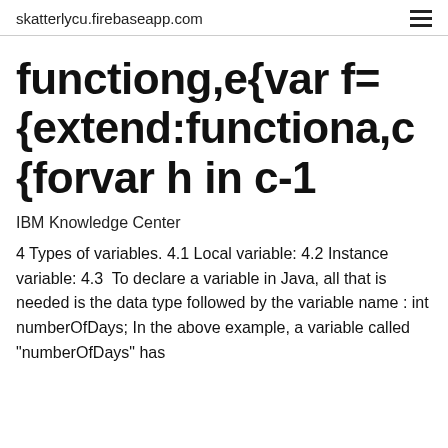skatterlycu.firebaseapp.com
functiong,e{var f= {extend:functiona,c {forvar h in c-1
IBM Knowledge Center
4 Types of variables. 4.1 Local variable: 4.2 Instance variable: 4.3  To declare a variable in Java, all that is needed is the data type followed by the variable name : int numberOfDays; In the above example, a variable called "numberOfDays" has